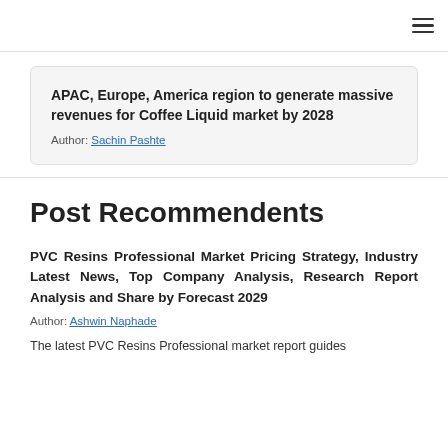☰
APAC, Europe, America region to generate massive revenues for Coffee Liquid market by 2028
Author: Sachin Pashte
Post Recommendents
PVC Resins Professional Market Pricing Strategy, Industry Latest News, Top Company Analysis, Research Report Analysis and Share by Forecast 2029
Author: Ashwin Naphade
The latest PVC Resins Professional market report guides